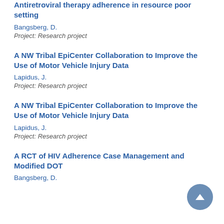Antiretroviral therapy adherence in resource poor setting
Bangsberg, D.
Project: Research project
A NW Tribal EpiCenter Collaboration to Improve the Use of Motor Vehicle Injury Data
Lapidus, J.
Project: Research project
A NW Tribal EpiCenter Collaboration to Improve the Use of Motor Vehicle Injury Data
Lapidus, J.
Project: Research project
A RCT of HIV Adherence Case Management and Modified DOT
Bangsberg, D.